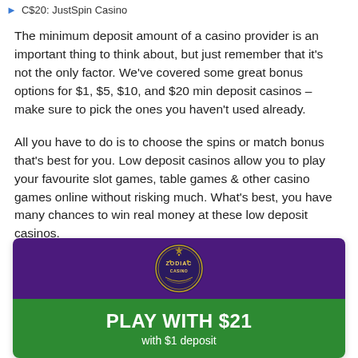C$20: JustSpin Casino
The minimum deposit amount of a casino provider is an important thing to think about, but just remember that it's not the only factor. We've covered some great bonus options for $1, $5, $10, and $20 min deposit casinos – make sure to pick the ones you haven't used already.
All you have to do is to choose the spins or match bonus that's best for you. Low deposit casinos allow you to play your favourite slot games, table games & other casino games online without risking much. What's best, you have many chances to win real money at these low deposit casinos.
[Figure (infographic): Zodiac Casino promotional card with purple top section containing the Zodiac Casino logo and green bottom section with text PLAY WITH $21 with $1 deposit]